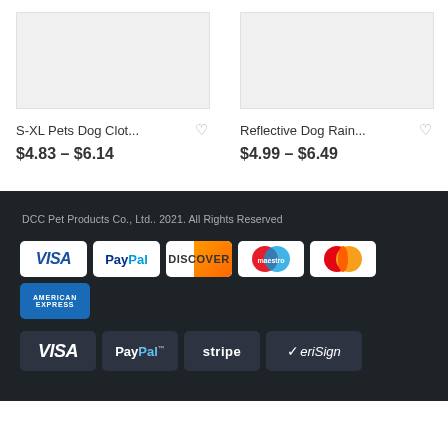S-XL Pets Dog Clot...
$4.83 – $6.14
Reflective Dog Rain...
$4.99 – $6.49
DCC Pet Products Co., Ltd.. 2021. All Rights Reserved
[Figure (logo): Payment logos row 1: VISA, PayPal, DISCOVER, Maestro, MasterCard, AMERICAN EXPRESS]
[Figure (logo): Payment logos row 2: VISA, PayPal, stripe, VeriSign]